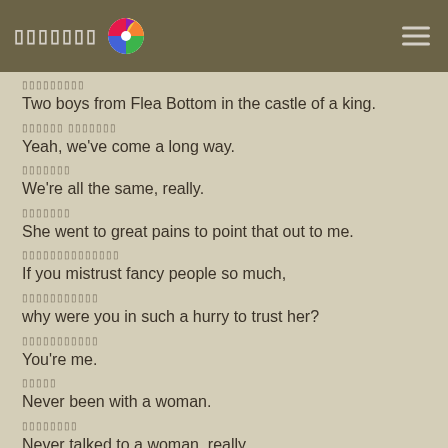▯▯▯▯▯▯▯
▯▯▯▯▯▯▯▯▯
Two boys from Flea Bottom in the castle of a king.
▯▯▯▯▯▯ ▯▯▯▯▯▯▯
Yeah, we've come a long way.
▯▯▯▯▯▯▯
We're all the same, really.
▯▯▯▯▯▯▯
She went to great pains to point that out to me.
▯▯▯▯▯▯▯▯▯▯▯▯▯▯
If you mistrust fancy people so much,
▯▯▯▯▯▯▯▯▯▯▯
why were you in such a hurry to trust her?
▯▯▯▯▯▯▯▯▯▯▯
You're me.
▯▯▯▯▯
Never been with a woman.
▯▯▯▯▯▯▯▯
Never talked to a woman, really.
▯▯▯▯▯▯▯▯▯▯